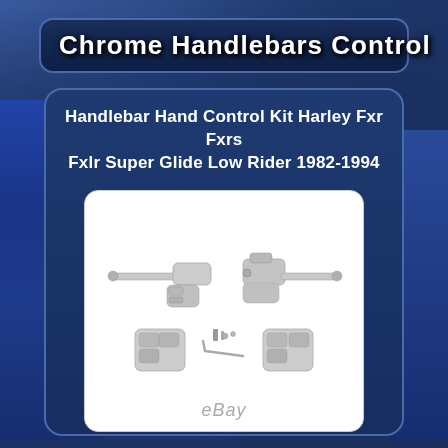Chrome Handlebars Control
Handlebar Hand Control Kit Harley Fxr Fxrs Fxlr Super Glide Low Rider 1982-1994
[Figure (photo): Product photo of a chrome handlebar hand control kit including brake lever, clutch lever, master cylinder, two switch housings, mounting hardware and allen wrench, displayed on white background with eBay watermark.]